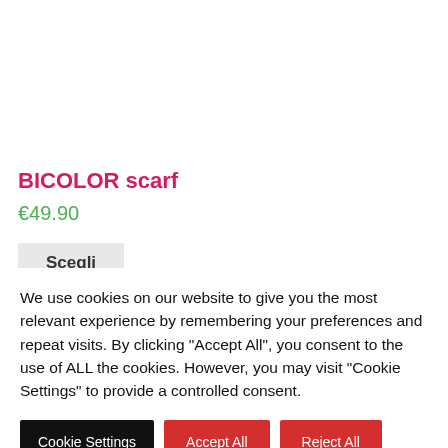BICOLOR scarf
€49.90
Scegli
We use cookies on our website to give you the most relevant experience by remembering your preferences and repeat visits. By clicking "Accept All", you consent to the use of ALL the cookies. However, you may visit "Cookie Settings" to provide a controlled consent.
Cookie Settings
Accept All
Reject All